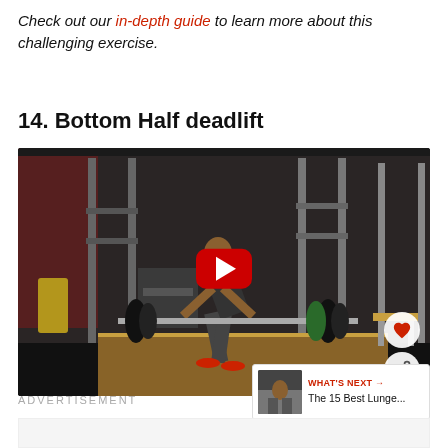Check out our in-depth guide to learn more about this challenging exercise.
14. Bottom Half deadlift
[Figure (screenshot): Video thumbnail showing a man performing a bottom half deadlift in a gym with heavy barbell, YouTube play button overlay, heart and share action buttons in bottom-right corner]
WHAT'S NEXT → The 15 Best Lunge...
ADVERTISEMENT